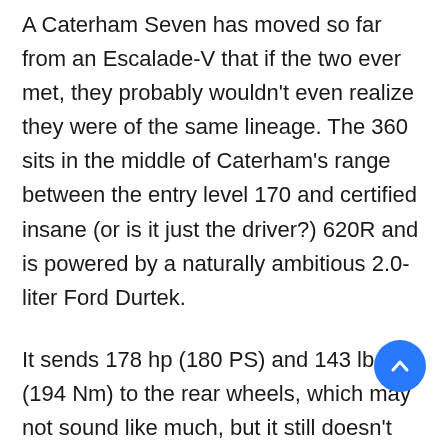A Caterham Seven has moved so far from an Escalade-V that if the two ever met, they probably wouldn't even realize they were of the same lineage. The 360 sits in the middle of Caterham's range between the entry level 170 and certified insane (or is it just the driver?) 620R and is powered by a naturally ambitious 2.0-liter Ford Durtek.
It sends 178 hp (180 PS) and 143 lb-ft (194 Nm) to the rear wheels, which may not sound like much, but it still doesn't lose the ridiculous 1,235 pounds (560 kg). Turn on one of these kids and send it in gear, and you'll swear you've done 60 miles p hour in 3.0 seconds, even though the GPS-verified